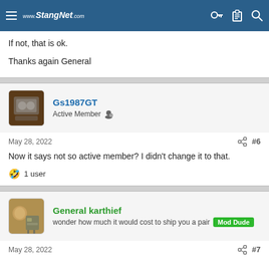www.StangNet.com
If not, that is ok.

Thanks again General
Gs1987GT
Active Member
May 28, 2022   #6
Now it says not so active member? I didn't change it to that.
🤣 1 user
General karthief
wonder how much it would cost to ship you a pair   Mod Dude
May 28, 2022   #7